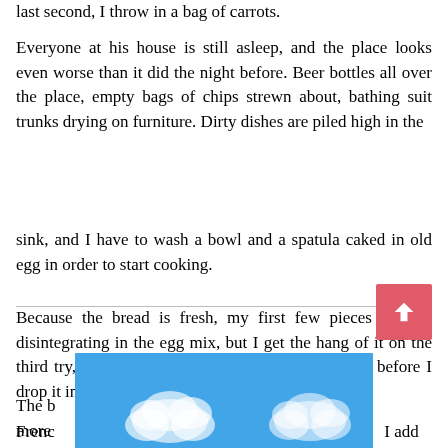last second, I throw in a bag of carrots.
Everyone at his house is still asleep, and the place looks even worse than it did the night before. Beer bottles all over the place, empty bags of chips strewn about, bathing suit trunks drying on furniture. Dirty dishes are piled high in the
sink, and I have to wash a bowl and a spatula caked in old egg in order to start cooking.
Because the bread is fresh, my first few pieces end up disintegrating in the egg mix, but I get the hang of it on the third try, dipping the bread for only a few seconds before I drop it in the frying pan.
The b... more French... I add
[Figure (illustration): Blue sky with white clouds illustration partially overlaying the bottom text]